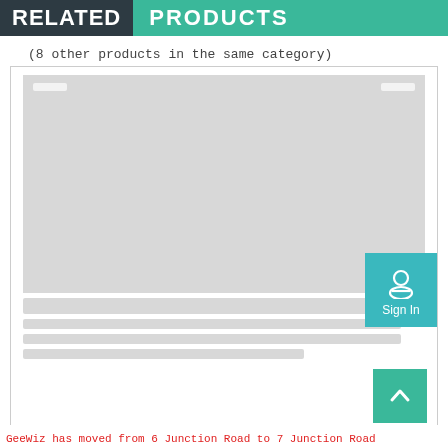RELATED PRODUCTS
(8 other products in the same category)
[Figure (screenshot): A product card placeholder with gray image area, corner accent bars, and skeleton loading lines below. A teal Sign In button overlays the right side. A green scroll-to-top arrow button is at bottom right.]
GeeWiz has moved from 6 Junction Road to 7 Junction Road